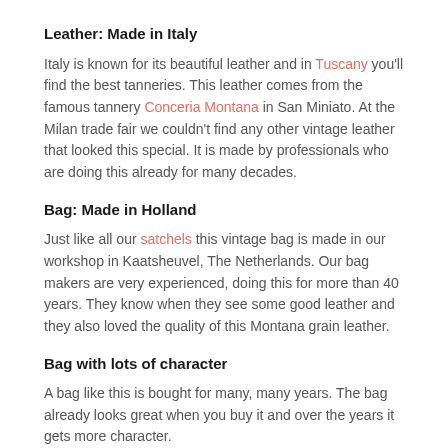Leather: Made in Italy
Italy is known for its beautiful leather and in Tuscany you’ll find the best tanneries. This leather comes from the famous tannery Conceria Montana in San Miniato. At the Milan trade fair we couldn’t find any other vintage leather that looked this special. It is made by professionals who are doing this already for many decades.
Bag: Made in Holland
Just like all our satchels this vintage bag is made in our workshop in Kaatsheuvel, The Netherlands. Our bag makers are very experienced, doing this for more than 40 years. They know when they see some good leather and they also loved the quality of this Montana grain leather.
Bag with lots of character
A bag like this is bought for many, many years. The bag already looks great when you buy it and over the years it gets more character.